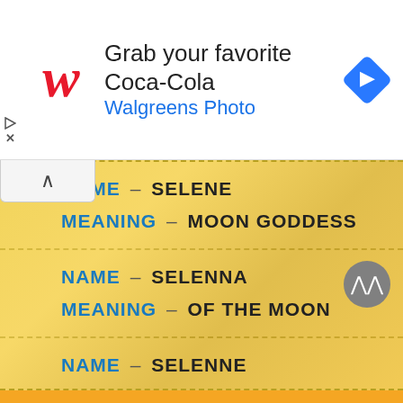[Figure (screenshot): Walgreens advertisement banner: red Walgreens cursive 'w' logo, text 'Grab your favorite Coca-Cola' in large dark text and 'Walgreens Photo' in blue, blue diamond navigation arrow icon on right]
NAME – SELENE
MEANING – MOON GODDESS
NAME – SELENNA
MEANING – OF THE MOON
NAME – SELENNE
MEANING – OF THE MOON